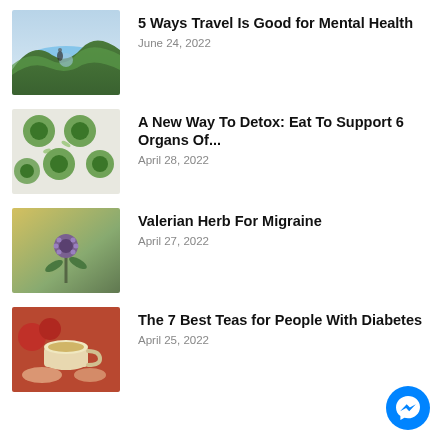[Figure (photo): Person standing by a mountain lake landscape]
5 Ways Travel Is Good for Mental Health
June 24, 2022
[Figure (photo): Close-up of green herbs/plants arranged in circles]
A New Way To Detox: Eat To Support 6 Organs Of...
April 28, 2022
[Figure (photo): Valerian herb flower in garden]
Valerian Herb For Migraine
April 27, 2022
[Figure (photo): Hands holding a cup of tea with fruits]
The 7 Best Teas for People With Diabetes
April 25, 2022